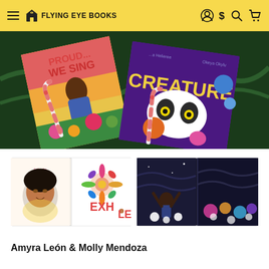Flying Eye Books
[Figure (photo): Hero banner photo showing two children's books — 'Proud We Sing' and 'Creature' — arranged on a dark green velvet background with candy canes and ribbon decorations.]
[Figure (photo): Thumbnail of an open children's book showing 'Inhale / Exhale' spread with a child's face and a colorful flower burst illustration.]
[Figure (photo): Thumbnail of an open children's book showing a dark blue nighttime spread with a figure reaching upward toward flowers.]
Amyra León & Molly Mendoza